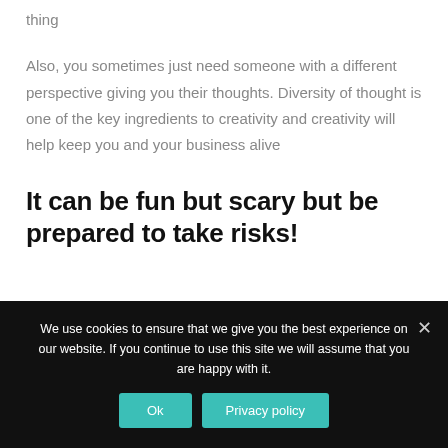thing
Also, you sometimes just need someone with a different perspective giving you their thoughts. Diversity of thought is one of the key ingredients to creativity and creativity will help keep you and your business alive
It can be fun but scary but be prepared to take risks!
We use cookies to ensure that we give you the best experience on our website. If you continue to use this site we will assume that you are happy with it.